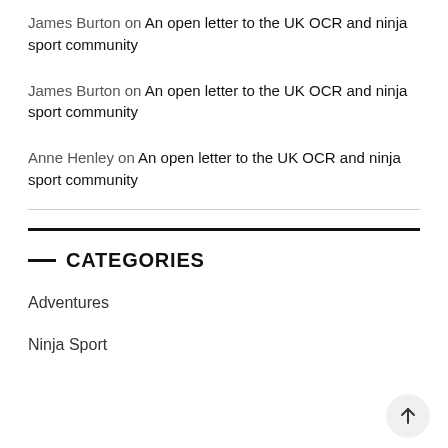James Burton on An open letter to the UK OCR and ninja sport community
James Burton on An open letter to the UK OCR and ninja sport community
Anne Henley on An open letter to the UK OCR and ninja sport community
CATEGORIES
Adventures
Ninja Sport